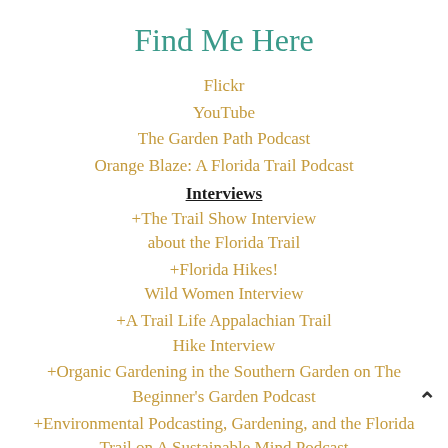Find Me Here
Flickr
YouTube
The Garden Path Podcast
Orange Blaze: A Florida Trail Podcast
Interviews
+The Trail Show Interview about the Florida Trail
+Florida Hikes! Wild Women Interview
+A Trail Life Appalachian Trail Hike Interview
+Organic Gardening in the Southern Garden on The Beginner's Garden Podcast
+Environmental Podcasting, Gardening, and the Florida Trail on A Sustainable Mind Podcast